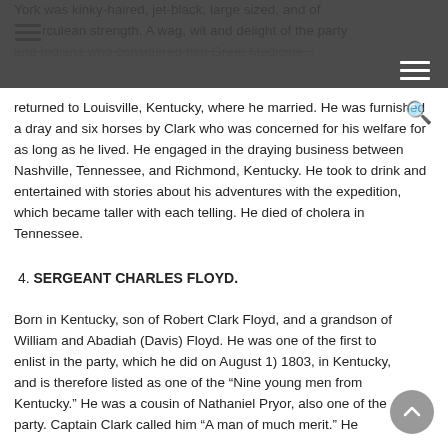York was kinky-haired, jet-black, large sized, and of Herculean strength. A wag, wit and delight of the party and Indians who considered him Great Medicine...
returned to Louisville, Kentucky, where he married. He was furnished a dray and six horses by Clark who was concerned for his welfare for as long as he lived. He engaged in the draying business between Nashville, Tennessee, and Richmond, Kentucky. He took to drink and entertained with stories about his adventures with the expedition, which became taller with each telling. He died of cholera in Tennessee.
4. SERGEANT CHARLES FLOYD.
Born in Kentucky, son of Robert Clark Floyd, and a grandson of William and Abadiah (Davis) Floyd. He was one of the first to enlist in the party, which he did on August 1) 1803, in Kentucky, and is therefore listed as one of the “Nine young men from Kentucky.” He was a cousin of Nathaniel Pryor, also one of the party. Captain Clark called him “A man of much merit.” He